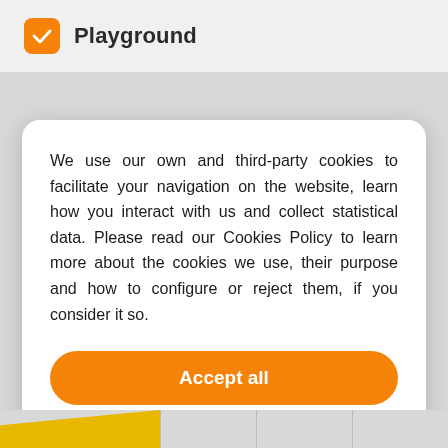Playground
We use our own and third-party cookies to facilitate your navigation on the website, learn how you interact with us and collect statistical data. Please read our Cookies Policy to learn more about the cookies we use, their purpose and how to configure or reject them, if you consider it so.
Accept all
Manage Cookies
Reject